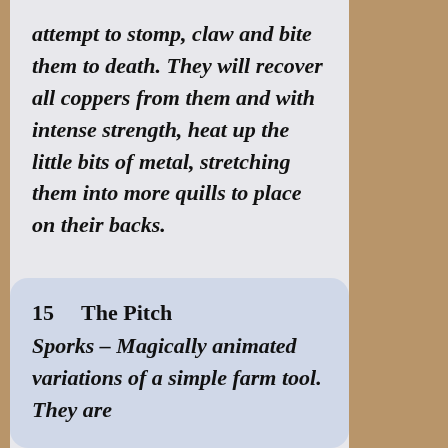attempt to stomp, claw and bite them to death. They will recover all coppers from them and with intense strength, heat up the little bits of metal, stretching them into more quills to place on their backs.
15   The Pitch Sporks – Magically animated variations of a simple farm tool. They are